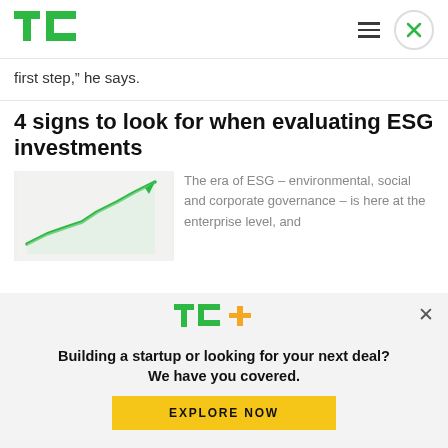TechCrunch logo, hamburger menu, close button
first step,” he says.
4 signs to look for when evaluating ESG investments
[Figure (illustration): Upward trending green arrow line chart on light grey background]
The era of ESG – environmental, social and corporate governance – is here at the enterprise level, and
[Figure (logo): TechCrunch TC+ logo in green with orange plus sign]
Building a startup or looking for your next deal? We have you covered.
EXPLORE NOW